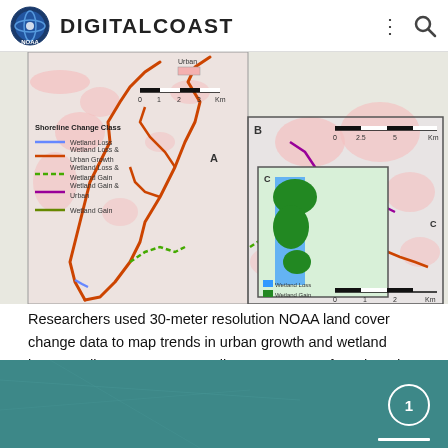DIGITALCOAST
[Figure (map): Map showing shoreline change classes including Wetland Loss, Wetland Loss & Urban Growth, Wetland Loss & Wetland Gain, Wetland Gain & Urban, and Wetland Gain along a coastal area. Three panels labeled A, B, and C with scale bars in km. Legend shows Urban (pink) and various shoreline change classes in different colors.]
Researchers used 30-meter resolution NOAA land cover change data to map trends in urban growth and wetland loss. Credit: Dr. Joanne N. Halls, Department of Earth and Ocean Sciences, University of North Carolina Wilmington.
1